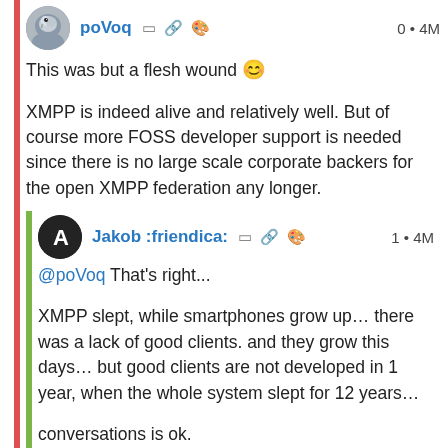poVoq  0 • 4M
This was but a flesh wound 😊
XMPP is indeed alive and relatively well. But of course more FOSS developer support is needed since there is no large scale corporate backers for the open XMPP federation any longer.
Jakob :friendica:  1 • 4M
@poVoq That's right...
XMPP slept, while smartphones grow up… there was a lack of good clients. and they grow this days… but good clients are not developed in 1 year, when the whole system slept for 12 years…
conversations is ok.
gajim gets a big relaunch
some web clients are forcefully developed (jinu...